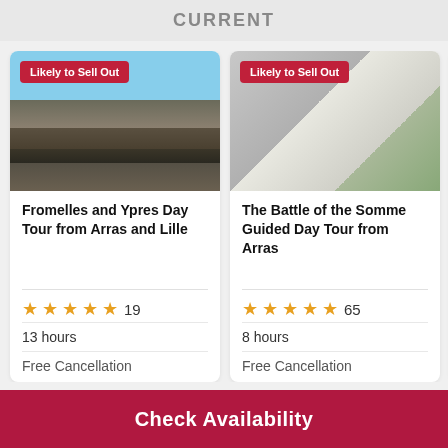CURRENT
[Figure (photo): Photo of Ypres/Fromelles historic buildings and town square with cars parked in foreground, gothic architecture visible]
Fromelles and Ypres Day Tour from Arras and Lille
★★★★★ 19
13 hours
Free Cancellation
[Figure (photo): Photo of a stone cross memorial with orange rose in foreground, Somme battlefield memorial]
The Battle of the Somme Guided Day Tour from Arras
★★★★★ 65
8 hours
Free Cancellation
[Figure (photo): Partial photo, partially cropped — Australian memorial tour listing]
Aust… Priva… and … Arra…
☆☆ (rating)
7 hou…
Free…
Check Availability